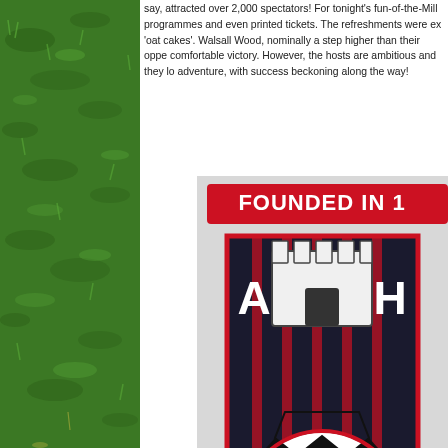say, attracted over 2,000 spectators! For tonight's fun-of-the-Mill programmes and even printed tickets. The refreshments were ex 'oat cakes'. Walsall Wood, nominally a step higher than their opp comfortable victory. However, the hosts are ambitious and they lo adventure, with success beckoning along the way!
[Figure (logo): Abbey Hulton United FC club badge/logo on grey background. Shield shape with black and red stripes, castle emblem at top with letters A and H on sides, red and black football in centre. Red banner at top reads 'FOUNDED IN 1' (partially visible). Red banner at bottom reads 'ABBEY HULTON UTD' (partially cut off).]
[Figure (photo): Photograph of floodlight pylons against a grey overcast sky, bottom portion of page.]